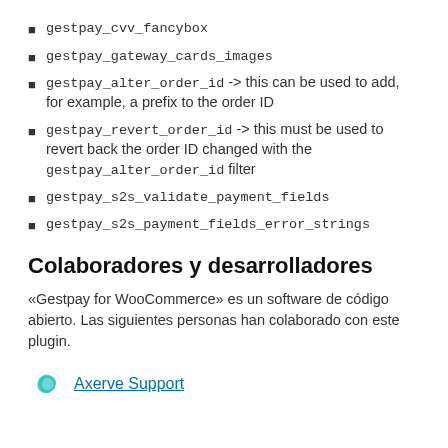gestpay_cvv_fancybox
gestpay_gateway_cards_images
gestpay_alter_order_id -> this can be used to add, for example, a prefix to the order ID
gestpay_revert_order_id -> this must be used to revert back the order ID changed with the gestpay_alter_order_id filter
gestpay_s2s_validate_payment_fields
gestpay_s2s_payment_fields_error_strings
Colaboradores y desarrolladores
«Gestpay for WooCommerce» es un software de código abierto. Las siguientes personas han colaborado con este plugin.
Axerve Support